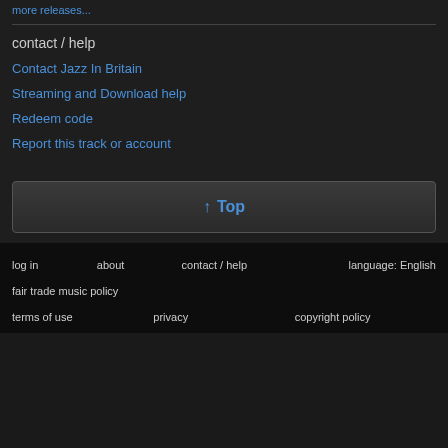more releases...
contact / help
Contact Jazz In Britain
Streaming and Download help
Redeem code
Report this track or account
↑ Top
log in   about   contact / help   language: English
fair trade music policy
terms of use   privacy   copyright policy